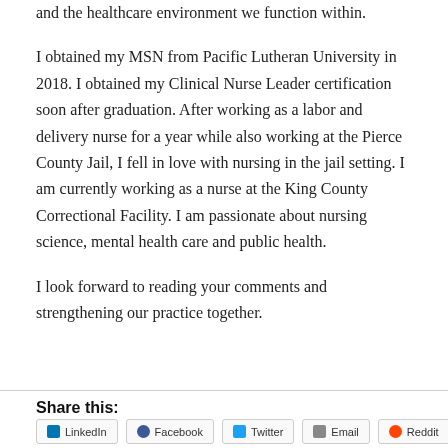and the healthcare environment we function within.
I obtained my MSN from Pacific Lutheran University in 2018. I obtained my Clinical Nurse Leader certification soon after graduation. After working as a labor and delivery nurse for a year while also working at the Pierce County Jail, I fell in love with nursing in the jail setting. I am currently working as a nurse at the King County Correctional Facility. I am passionate about nursing science, mental health care and public health.
I look forward to reading your comments and strengthening our practice together.
Share this:
LinkedIn Facebook Twitter Email Reddit